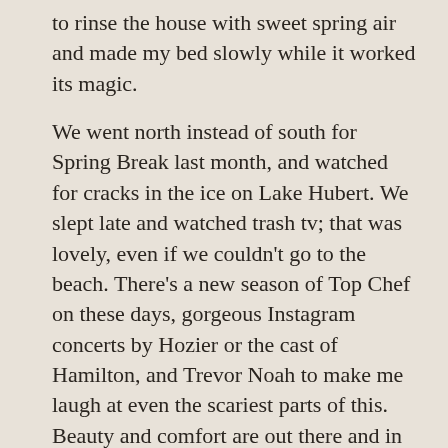to rinse the house with sweet spring air and made my bed slowly while it worked its magic.
We went north instead of south for Spring Break last month, and watched for cracks in the ice on Lake Hubert. We slept late and watched trash tv; that was lovely, even if we couldn't go to the beach. There's a new season of Top Chef on these days, gorgeous Instagram concerts by Hozier or the cast of Hamilton, and Trevor Noah to make me laugh at even the scariest parts of this. Beauty and comfort are out there and in here. We're okay so far, even though my husband works at a hospital. We're okay, even in our loneliness or helplessness. We are okay. Keep saying it, my friends, until it feels true.